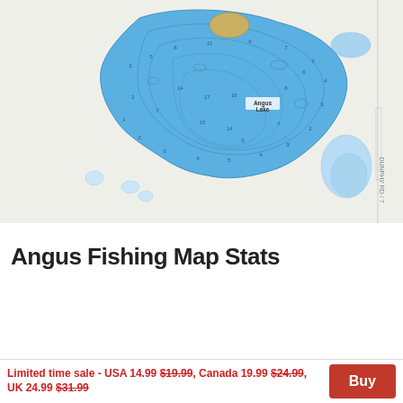[Figure (map): Angus lake depth map showing bathymetric contours. Main lake body in dark blue with depth contour lines, a small island/sandbar in tan/gold color, and smaller adjacent water bodies in lighter blue. Labels on the map include 'Angus Lake'. Background is light gray/beige representing land.]
Angus lake depth map
Angus Fishing Map Stats
| Title | Angus |
| Scale | 1:3000 |
| Counties | Wright |
| Nearby Cities | Buffalo, Maple Lake, Silver Creek, Monticello, Hasty, Becker, Montrose, Big Lake, Waverly, Rockford |
| Area * | 79.61 acres |
Limited time sale - USA 14.99 $19.99, Canada 19.99 $24.99, UK 24.99 $31.99